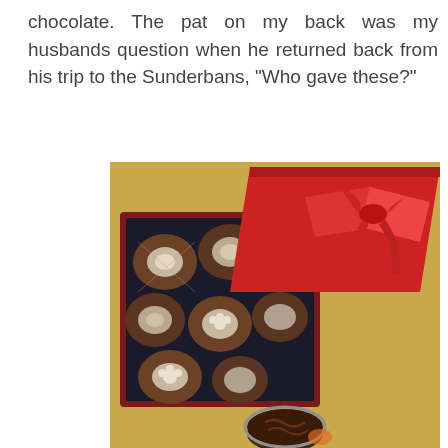chocolate. The pat on my back was my husbands question when he returned back from his trip to the Sunderbans, "Who gave these?"
[Figure (photo): A red tin box of chocolates wrapped with a red bow/ribbon on the lid, opened to reveal several chocolate truffles in silver foil cups inside. The box sits on a golden/tan surface. A single chocolate truffle is partially visible at the bottom of the image.]